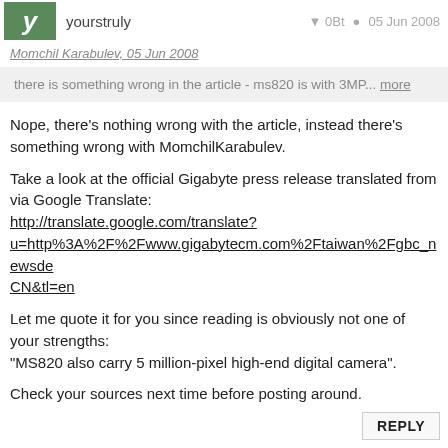yourstruly   0Bt   05 Jun 2008
Momchil Karabulev, 05 Jun 2008
there is something wrong in the article - ms820 is with 3MP... more
Nope, there's nothing wrong with the article, instead there's something wrong with MomchilKarabulev.
Take a look at the official Gigabyte press release translated from via Google Translate:
http://translate.google.com/translate?u=http%3A%2F%2Fwww.gigabytecm.com%2Ftaiwan%2Fgbc_newsde CN&tl=en
Let me quote it for you since reading is obviously not one of your strengths:
"MS820 also carry 5 million-pixel high-end digital camera".
Check your sources next time before posting around.